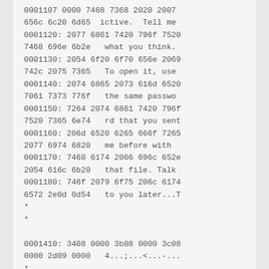0001107 0000 7468 7368 2020 2007
656c 6c20 6d65  ictive.  Tell me
0001120: 2077 6861 7420 796f 7520
7468 696e 6b2e   what you think.
0001130: 2054 6f20 6f70 656e 2069
742c 2075 7365   To open it, use
0001140: 2074 6865 2073 616d 6520
7061 7373 776f   the same passwo
0001150: 7264 2074 6861 7420 796f
7520 7365 6e74   rd that you sent
0001160: 206d 6520 6265 666f 7265
2077 6974 6820   me before with
0001170: 7468 6174 2066 696c 652e
2054 616c 6b20   that file. Talk
0001180: 746f 2079 6f75 206c 6174
6572 2e0d 0d54   to you later...T
*
*

0001410: 3408 0000 3b08 0000 3c08
0000 2d09 0000   4...;...<...-...
*

*0001810: 0807 22b0 0807 2390 a005